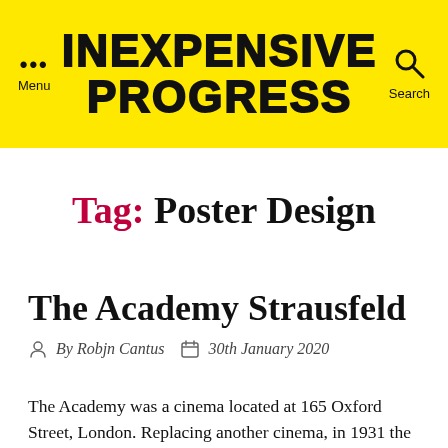INEXPENSIVE PROGRESS
Tag: Poster Design
The Academy Strausfeld
By Robjn Cantus   30th January 2020
The Academy was a cinema located at 165 Oxford Street, London. Replacing another cinema, in 1931 the Academy opened, becoming London's pre-